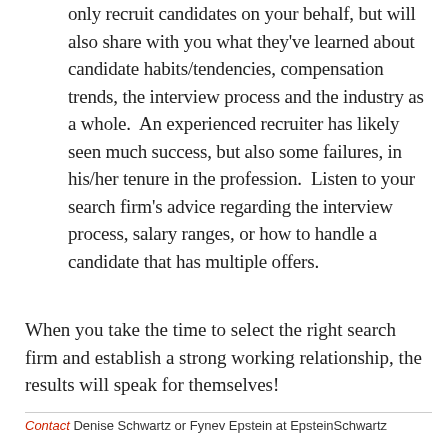only recruit candidates on your behalf, but will also share with you what they've learned about candidate habits/tendencies, compensation trends, the interview process and the industry as a whole.  An experienced recruiter has likely seen much success, but also some failures, in his/her tenure in the profession.  Listen to your search firm's advice regarding the interview process, salary ranges, or how to handle a candidate that has multiple offers.
When you take the time to select the right search firm and establish a strong working relationship, the results will speak for themselves!
Contact Denise Schwartz or Fynev Epstein at EpsteinSchwartz